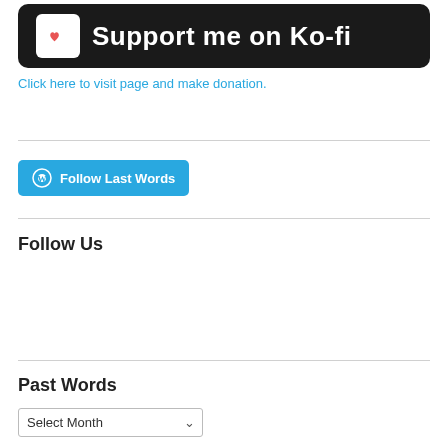[Figure (logo): Ko-fi support banner with coffee cup icon and red heart, white text 'Support me on Ko-fi' on dark background]
Click here to visit page and make donation.
[Figure (other): WordPress 'Follow Last Words' button in teal/blue color]
Follow Us
Past Words
Select Month